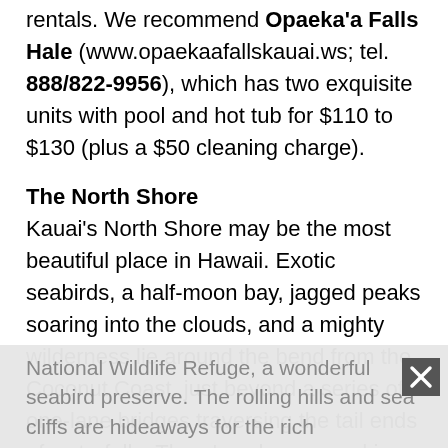rentals. We recommend Opaeka'a Falls Hale (www.opaekaafallskauai.ws; tel. 888/822-9956), which has two exquisite units with pool and hot tub for $110 to $130 (plus a $50 cleaning charge).
The North Shore
Kauai's North Shore may be the most beautiful place in Hawaii. Exotic seabirds, a half-moon bay, jagged peaks soaring into the clouds, and a mighty wilderness lie around the bend from the Coconut Coast, just beyond a series of one-lane bridges traversing the tail ends of waterfalls. There's only one road in and out, a handful of tiny towns, plus a mega expensive resort, Princeville:
Kilauea  -- This village is home to an antique lighthouse, tropical-fruit stands, little stone houses, and Kilauea Point
National Wildlife Refuge, a wonderful seabird preserve. The rolling hills and sea cliffs are hideaways for the rich and famous, including Bette Midler and Sylvester...